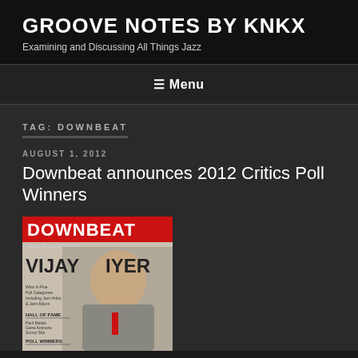GROOVE NOTES BY KNKX
Examining and Discussing All Things Jazz
≡ Menu
TAG: DOWNBEAT
AUGUST 1, 2012
Downbeat announces 2012 Critics Poll Winners
[Figure (photo): Downbeat magazine cover featuring Vijay Iyer, with red DOWNBEAT masthead and text about Poll Winners and Hall of Fame]